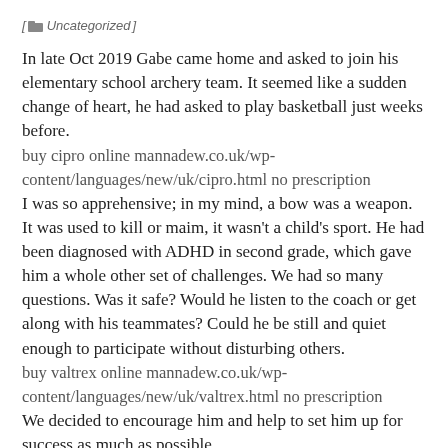[ Uncategorized ]
In late Oct 2019 Gabe came home and asked to join his elementary school archery team. It seemed like a sudden change of heart, he had asked to play basketball just weeks before.
buy cipro online mannadew.co.uk/wp-content/languages/new/uk/cipro.html no prescription
I was so apprehensive; in my mind, a bow was a weapon. It was used to kill or maim, it wasn't a child's sport. He had been diagnosed with ADHD in second grade, which gave him a whole other set of challenges. We had so many questions. Was it safe? Would he listen to the coach or get along with his teammates? Could he be still and quiet enough to participate without disturbing others.
buy valtrex online mannadew.co.uk/wp-content/languages/new/uk/valtrex.html no prescription
We decided to encourage him and help to set him up for success as much as possible.